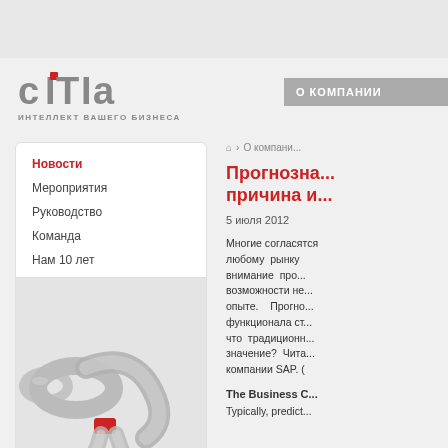[Figure (logo): СITIA logo with tagline ИНТЕЛЛЕКТ ВАШЕГО БИЗНЕСА]
О КОМПАНИИ
Новости
Мероприятия
Руководство
Команда
Нам 10 лет
[Figure (illustration): 3D ribbon/connector illustration with red accent]
⌂ > О компани...
Прогнозна... причина и...
5 июля 2012
Многие согласятся любому рынку внимание про... возможности не... опыте. Прогно... функционала ст... что традиционн... значение? Чита... компании SAP. (
The Business C...
Typically, predict...